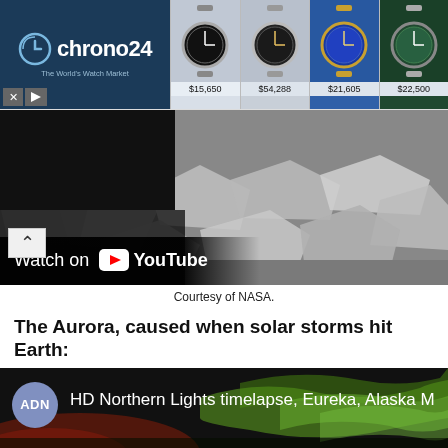[Figure (screenshot): Chrono24 watch marketplace advertisement banner showing logo and four luxury watches with prices: $15,650, $54,288, $21,605, $22,500]
[Figure (screenshot): YouTube video embed showing Mars rover footage with rocks on Martian surface. Overlay text reads 'Watch on YouTube']
Courtesy of NASA.
The Aurora, caused when solar storms hit Earth:
[Figure (screenshot): YouTube video embed with ADN channel logo. Title reads 'HD Northern Lights timelapse, Eureka, Alaska M...' with aurora borealis background showing green lights]